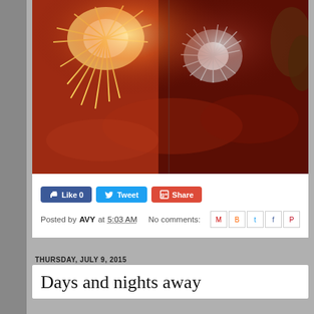[Figure (photo): Fireworks photograph showing bright bursts of light against a dark reddish-orange sky, with two firework explosions visible]
Like 0   Tweet   Share
Posted by AVY at 5:03 AM   No comments:
THURSDAY, JULY 9, 2015
Days and nights away